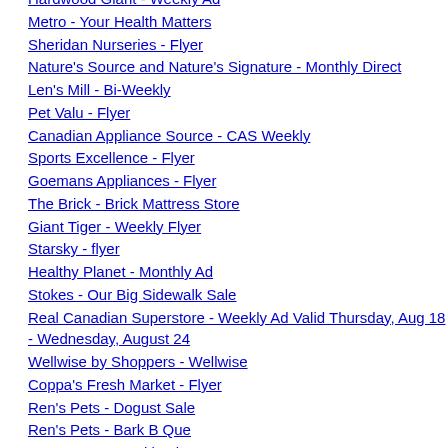Hardwood Giant - Weekly Ad
Metro - Your Health Matters
Sheridan Nurseries - Flyer
Nature's Source and Nature's Signature - Monthly Direct
Len's Mill - Bi-Weekly
Pet Valu - Flyer
Canadian Appliance Source - CAS Weekly
Sports Excellence - Flyer
Goemans Appliances - Flyer
The Brick - Brick Mattress Store
Giant Tiger - Weekly Flyer
Starsky - flyer
Healthy Planet - Monthly Ad
Stokes - Our Big Sidewalk Sale
Real Canadian Superstore - Weekly Ad Valid Thursday, Aug 18 - Wednesday, August 24
Wellwise by Shoppers - Wellwise
Coppa's Fresh Market - Flyer
Ren's Pets - Dogust Sale
Ren's Pets - Bark B Que
Ren's Pets - Weekly Flyer